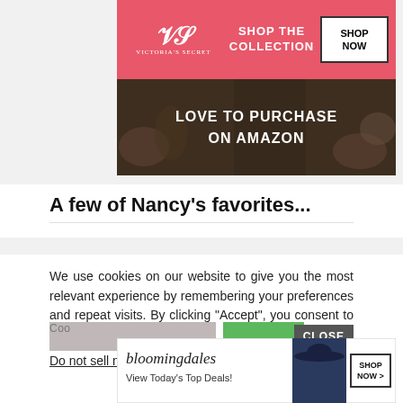[Figure (screenshot): Victoria's Secret advertisement banner with pink background, logo, 'SHOP THE COLLECTION' text and 'SHOP NOW' button, overlaid on an Amazon product advertisement showing 'LOVE TO PURCHASE ON AMAZON' text]
A few of Nancy's favorites...
We use cookies on our website to give you the most relevant experience by remembering your preferences and repeat visits. By clicking “Accept”, you consent to the use of ALL the cookies.
Do not sell my personal information.
[Figure (screenshot): Bloomingdale's advertisement banner with logo, 'View Today's Top Deals!' text, model in hat, and 'SHOP NOW >' button]